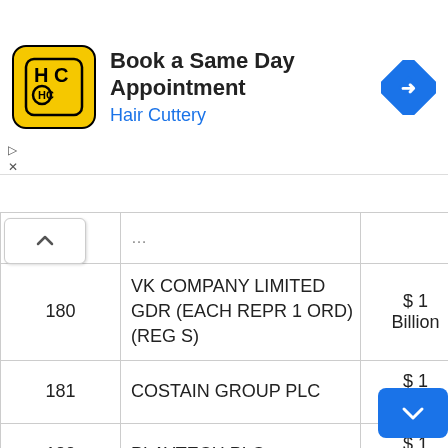[Figure (screenshot): Advertisement banner for Hair Cuttery: 'Book a Same Day Appointment' with Hair Cuttery logo and navigation arrow icon]
| # | Company | Market Cap | Sector |
| --- | --- | --- | --- |
| 180 | VK COMPANY LIMITED GDR (EACH REPR 1 ORD) (REG S) | $ 1 Billion | Technology Services |
| 181 | COSTAIN GROUP PLC | $ 1 Billion | Industrial Services |
| 182 | PLAYTECH PLC | $ 1 Billion | Technology Services |
| 183 | PREMIER FOODS PLC | $ 1 Billion | Consumer Durables |